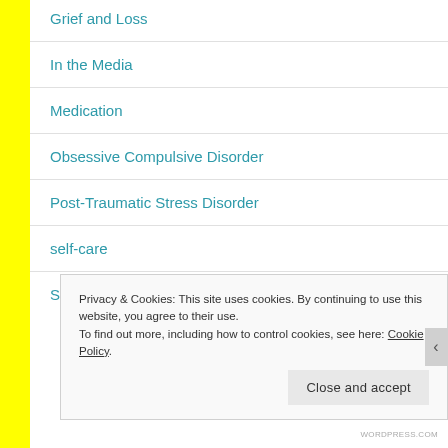Grief and Loss
In the Media
Medication
Obsessive Compulsive Disorder
Post-Traumatic Stress Disorder
self-care
Stigma
Privacy & Cookies: This site uses cookies. By continuing to use this website, you agree to their use. To find out more, including how to control cookies, see here: Cookie Policy
Close and accept